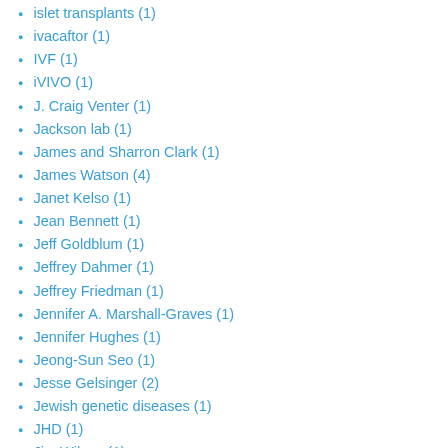islet transplants (1)
ivacaftor (1)
IVF (1)
iVIVO (1)
J. Craig Venter (1)
Jackson lab (1)
James and Sharron Clark (1)
James Watson (4)
Janet Kelso (1)
Jean Bennett (1)
Jeff Goldblum (1)
Jeffrey Dahmer (1)
Jeffrey Friedman (1)
Jennifer A. Marshall-Graves (1)
Jennifer Hughes (1)
Jeong-Sun Seo (1)
Jesse Gelsinger (2)
Jewish genetic diseases (1)
JHD (1)
Jim Wilson (1)
John Chiang (1)
Johnny Depp (1)
Johns Hopkins Malaria Research Institute Benjamin D. Philpot (1)
Joris Veltman (1)
Joseph Graves (1)
José Baselga (1)